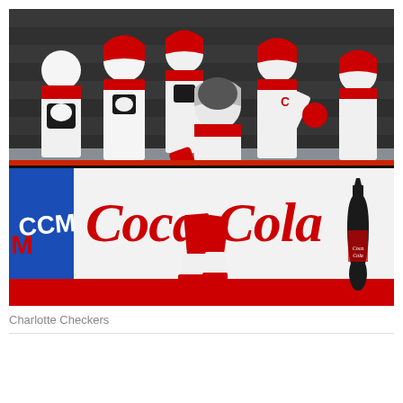[Figure (photo): Hockey action photo showing Charlotte Checkers players in white jerseys with red accents celebrating at the bench boards, with a player wearing number 7 in the foreground taking a shot or celebrating on the ice. The arena boards display a large Coca-Cola logo in red script and a blue CCM banner. A Coca-Cola bottle silhouette is visible on the right side of the boards.]
Charlotte Checkers